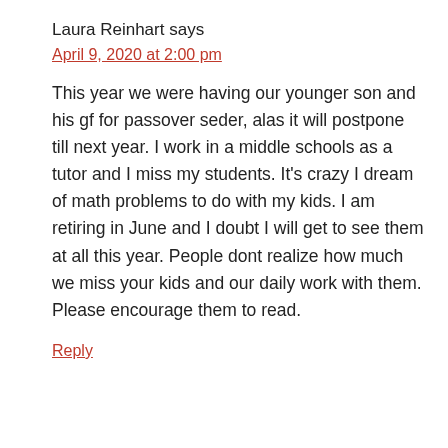Laura Reinhart says
April 9, 2020 at 2:00 pm
This year we were having our younger son and his gf for passover seder, alas it will postpone till next year. I work in a middle schools as a tutor and I miss my students. It's crazy I dream of math problems to do with my kids. I am retiring in June and I doubt I will get to see them at all this year. People dont realize how much we miss your kids and our daily work with them. Please encourage them to read.
Reply